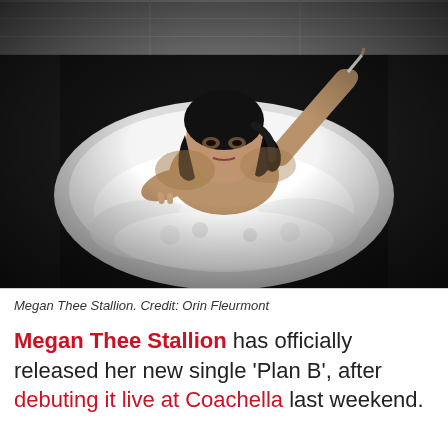[Figure (photo): Black and white overhead photo of Megan Thee Stallion in a bathtub filled with bubbles/foam, holding a cigarette in one raised hand, looking up at camera]
Megan Thee Stallion. Credit: Orin Fleurmont
Megan Thee Stallion has officially released her new single 'Plan B', after debuting it live at Coachella last weekend.